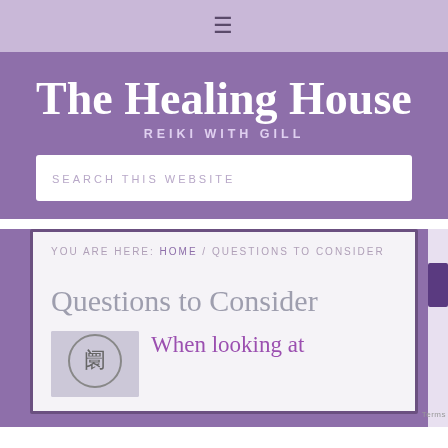≡
The Healing House
REIKI WITH GILL
SEARCH THIS WEBSITE
YOU ARE HERE: HOME / QUESTIONS TO CONSIDER
Questions to Consider
When looking at